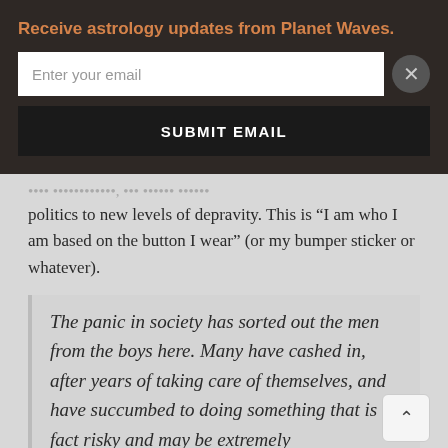Receive astrology updates from Planet Waves.
Enter your email
SUBMIT EMAIL
politics to new levels of depravity. This is “I am who I am based on the button I wear” (or my bumper sticker or whatever).
The panic in society has sorted out the men from the boys here. Many have cashed in, after years of taking care of themselves, and have succumbed to doing something that is in fact risky and may be extremely